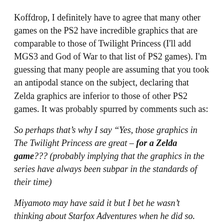Koffdrop, I definitely have to agree that many other games on the PS2 have incredible graphics that are comparable to those of Twilight Princess (I'll add MGS3 and God of War to that list of PS2 games). I'm guessing that many people are assuming that you took an antipodal stance on the subject, declaring that Zelda graphics are inferior to those of other PS2 games. It was probably spurred by comments such as:
So perhaps that’s why I say “Yes, those graphics in The Twilight Princess are great – for a Zelda game??? (probably implying that the graphics in the series have always been subpar in the standards of their time)
Miyamoto may have said it but I bet he wasn’t thinking about Starfox Adventures when he did so. (although there’s an implication that Starfox Adventures was bad, it was actually a better than average game, plus the quote pretty much embarasses Miyamoto)